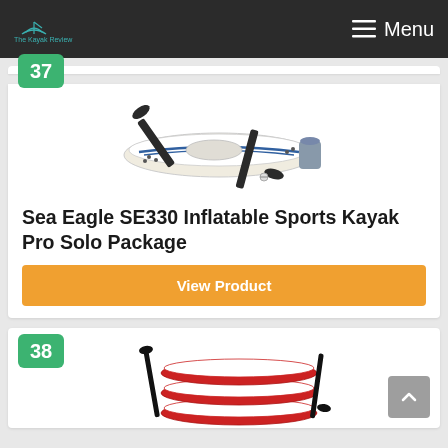The Kayak Review — Menu
37
[Figure (photo): Sea Eagle SE330 inflatable kayak with paddle and accessories bag on white background]
Sea Eagle SE330 Inflatable Sports Kayak Pro Solo Package
View Product
38
[Figure (photo): Red and white inflatable kayak stacked, shown at angle with paddles]